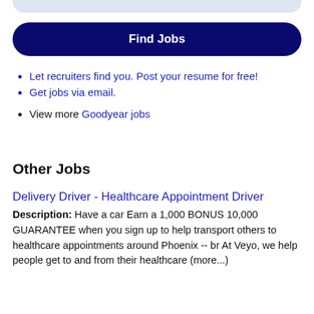[Figure (other): Top bar decorative element (rounded rectangle, light blue/gray)]
Find Jobs
Let recruiters find you. Post your resume for free!
Get jobs via email.
View more Goodyear jobs
Other Jobs
Delivery Driver - Healthcare Appointment Driver
Description: Have a car Earn a 1,000 BONUS 10,000 GUARANTEE when you sign up to help transport others to healthcare appointments around Phoenix -- br At Veyo, we help people get to and from their healthcare (more...)